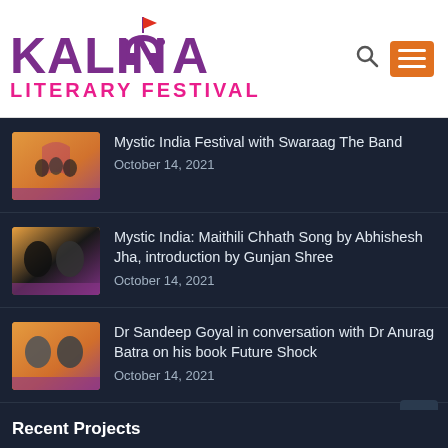[Figure (logo): Kalinga Literary Festival logo with purple arch/gate motif and orange flag, text KALINGA in purple and LITERARY FESTIVAL in pink]
Mystic India Festival with Swaraag The Band
October 14, 2021
Mystic India: Maithili Chhath Song by Abhishesh Jha, introduction by Gunjan Shree
October 14, 2021
Dr Sandeep Goyal in conversation with Dr Anurag Batra on his book Future Shock
October 14, 2021
Recent Projects